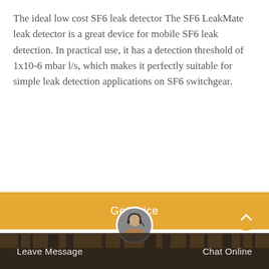The ideal low cost SF6 leak detector The SF6 LeakMate leak detector is a great device for mobile SF6 leak detection. In practical use, it has a detection threshold of 1x10-6 mbar l/s, which makes it perfectly suitable for simple leak detection applications on SF6 switchgear.
Get Price
[Figure (photo): Outdoor electrical switchgear/substation silhouetted against an orange sunset sky with power lines and transmission towers]
Leave Message    Chat Online